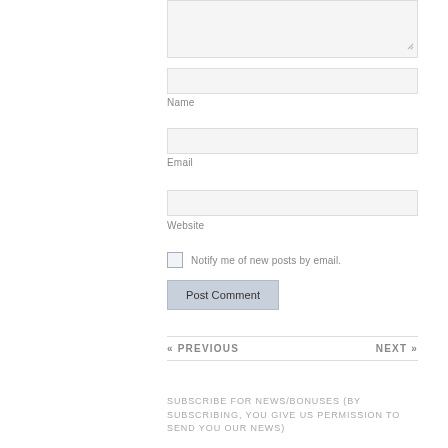[Figure (screenshot): Textarea input box (top of page, partially visible), light gray background with resize handle at bottom-right]
[Figure (screenshot): Text input field for Name, light gray background, label 'Name' below]
Name
[Figure (screenshot): Text input field for Email, light gray background, label 'Email' below]
Email
[Figure (screenshot): Text input field for Website, light gray background, label 'Website' below]
Website
Notify me of new posts by email.
Post Comment
« PREVIOUS
NEXT »
SUBSCRIBE FOR NEWS/BONUSES (BY SUBSCRIBING, YOU GIVE US PERMISSION TO SEND YOU OUR NEWS)